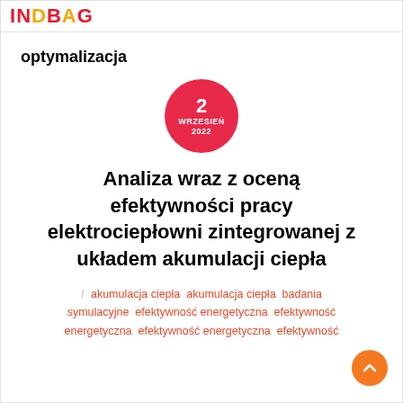INBIG
optymalizacja
[Figure (other): Pink/red circle with date: 2 WRZESIEŃ 2022]
Analiza wraz z oceną efektywności pracy elektrociepłowni zintegrowanej z układem akumulacji ciepła
akumulacja ciepła  akumulacja ciepła  badania symulacyjne  efektywność energetyczna  efektywność energetyczna  efektywność energetyczna  efektywność